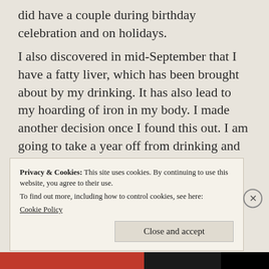did have a couple during birthday celebration and on holidays.
I also discovered in mid-September that I have a fatty liver, which has been brought about by my drinking. It has also lead to my hoarding of iron in my body. I made another decision once I found this out. I am going to take a year off from drinking and see where my liver situation is and also because, well that is another part of this story.
In July when I decided to quit drinking, I
Privacy & Cookies: This site uses cookies. By continuing to use this website, you agree to their use.
To find out more, including how to control cookies, see here:
Cookie Policy
Close and accept